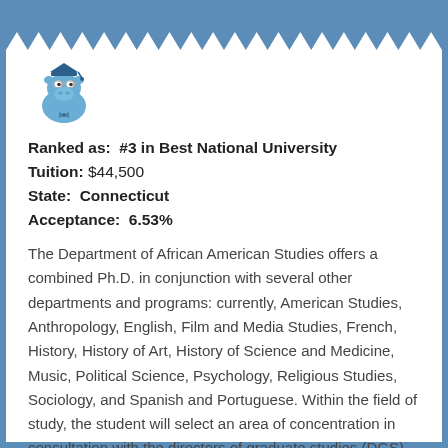[Figure (illustration): Cartoon blue hippo wearing graduation cap and bow tie]
Ranked as: #3 in Best National University
Tuition: $44,500
State: Connecticut
Acceptance: 6.53%
The Department of African American Studies offers a combined Ph.D. in conjunction with several other departments and programs: currently, American Studies, Anthropology, English, Film and Media Studies, French, History, History of Art, History of Science and Medicine, Music, Political Science, Psychology, Religious Studies, Sociology, and Spanish and Portuguese. Within the field of study, the student will select an area of concentration in consultation with the directors of graduate studies (DGS) of African American Studies and the joint